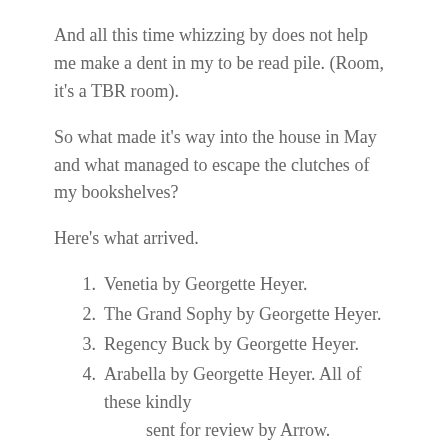And all this time whizzing by does not help me make a dent in my to be read pile. (Room, it's a TBR room).
So what made it's way into the house in May and what managed to escape the clutches of my bookshelves?
Here's what arrived.
1. Venetia by Georgette Heyer.
2. The Grand Sophy by Georgette Heyer.
3. Regency Buck by Georgette Heyer.
4. Arabella by Georgette Heyer. All of these kindly sent for review by Arrow.
5. The Orange Grove by Rosanna Hey.
6. Daughters of Sparta by Claire Heywood.
7. The Black Dress by Deborah Moggach. The last